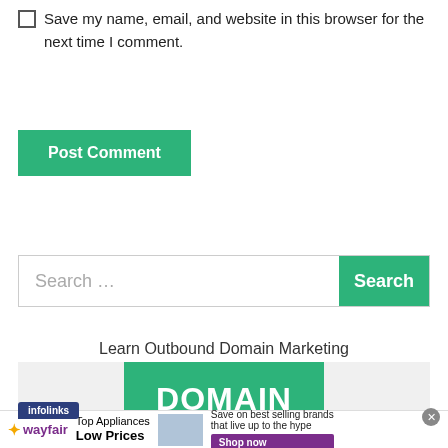Save my name, email, and website in this browser for the next time I comment.
Post Comment
Search ...
Search
Learn Outbound Domain Marketing
[Figure (screenshot): Advertisement banner showing 'DOMAIN' text on green background with infolinks badge]
[Figure (screenshot): Wayfair advertisement: Top Appliances Low Prices with Shop now button]